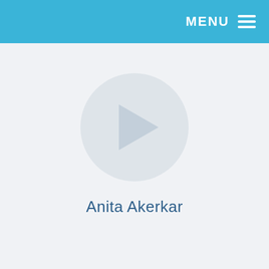MENU ≡
[Figure (illustration): Large circular play button icon with a right-pointing triangle, rendered in a light gray translucent style on a light gray background]
Anita Akerkar